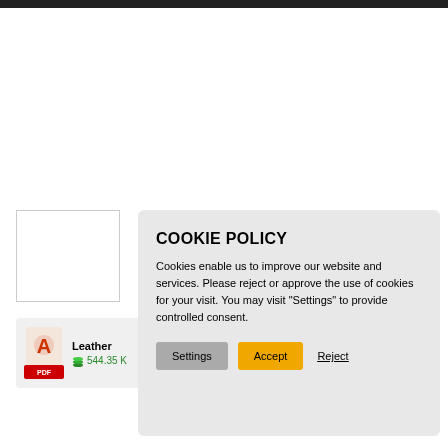[Figure (screenshot): White thumbnail/document preview box with border]
[Figure (other): PDF file item showing Acrobat icon, 'Leather' filename, and file size 544.35 K]
COOKIE POLICY
Cookies enable us to improve our website and services. Please reject or approve the use of cookies for your visit. You may visit "Settings" to provide controlled consent.
Settings  Accept  Reject